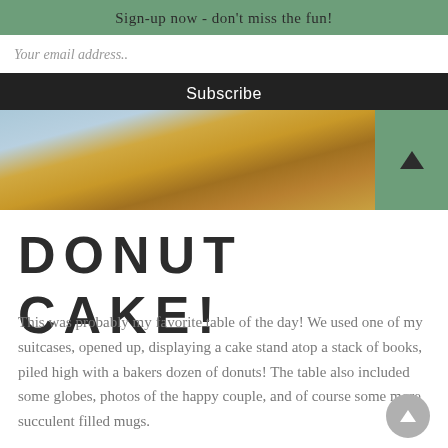Sign-up now - don't miss the fun!
Your email address..
Subscribe
[Figure (photo): Partial photo showing books and golden/amber colored objects on a table, with a light blue/grey background area visible.]
DONUT CAKE!
This was probably my favorite table of the day! We used one of my suitcases, opened up, displaying a cake stand atop a stack of books, piled high with a bakers dozen of donuts! The table also included some globes, photos of the happy couple, and of course some more succulent filled mugs.